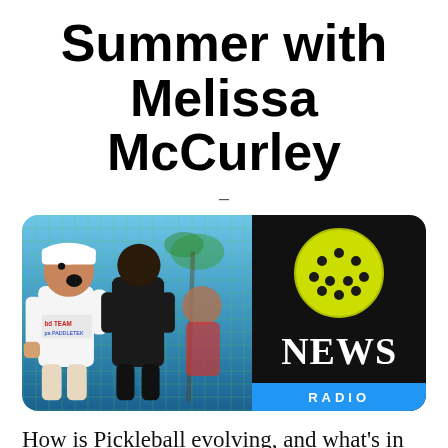Summer with Melissa McCurley
–
[Figure (photo): Composite image: left side shows two pickleball players celebrating on a court (one in white Team Paddletek shirt, one in black), right side shows a pickleball NEWS RADIO logo on black background with yellow pickleball ball and blue RADIO bar]
How is Pickleball evolving, and what's in store for this summer? Melissa...